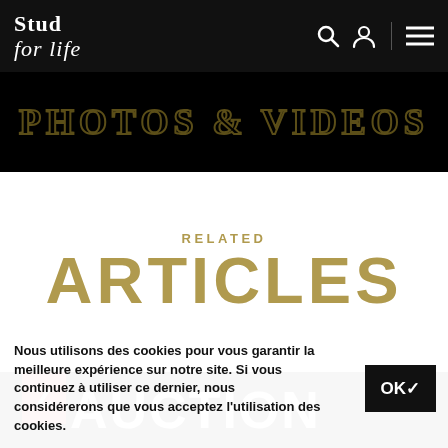Stud for life
[Figure (screenshot): Hero banner with partially visible text 'PHOTOS & VIDEOS' in gold outline letters on black background]
RELATED
ARTICLES
[Figure (photo): Article thumbnail showing horses visible through large white letters spelling AUCTION on dark background, with red Z badge on the left]
Nous utilisons des cookies pour vous garantir la meilleure expérience sur notre site. Si vous continuez à utiliser ce dernier, nous considérerons que vous acceptez l'utilisation des cookies.